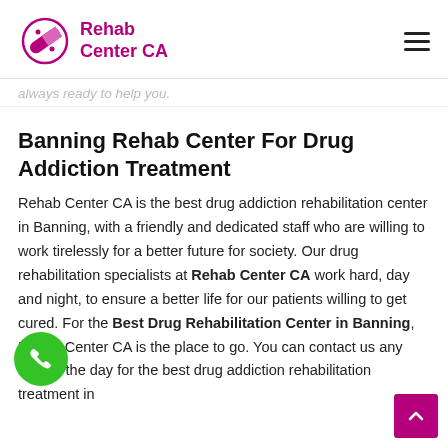[Figure (logo): Rehab Center CA logo with pill/capsule icon and magenta text]
always ready to help you.
Banning Rehab Center For Drug Addiction Treatment
Rehab Center CA is the best drug addiction rehabilitation center in Banning, with a friendly and dedicated staff who are willing to work tirelessly for a better future for society. Our drug rehabilitation specialists at Rehab Center CA work hard, day and night, to ensure a better life for our patients willing to get cured. For the Best Drug Rehabilitation Center in Banning, Rehab Center CA is the place to go. You can contact us any time of the day for the best drug addiction rehabilitation treatment in